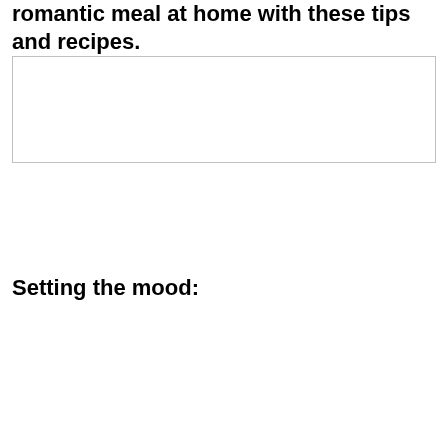romantic meal at home with these tips and recipes.
[Figure (other): Empty rectangular box with light gray border]
Setting the mood: